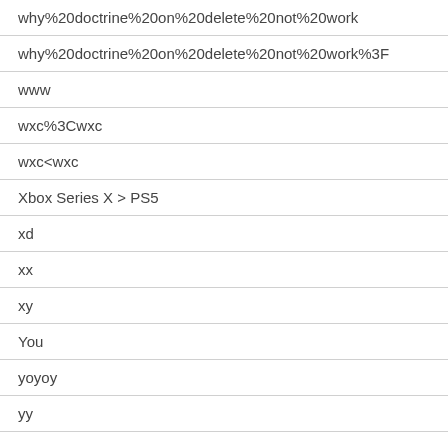why%20doctrine%20on%20delete%20not%20work
why%20doctrine%20on%20delete%20not%20work%3F
www
wxc%3Cwxc
wxc<wxc
Xbox Series X > PS5
xd
xx
xy
You
yoyoy
yy